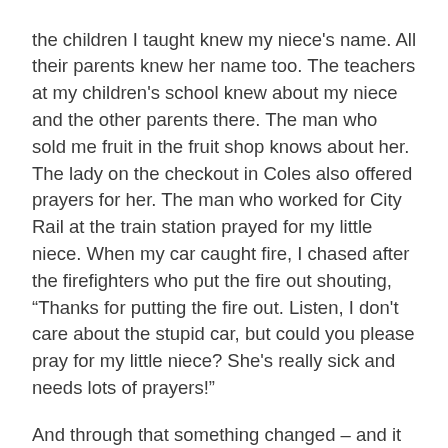the children I taught knew my niece's name. All their parents knew her name too. The teachers at my children's school knew about my niece and the other parents there. The man who sold me fruit in the fruit shop knows about her. The lady on the checkout in Coles also offered prayers for her. The man who worked for City Rail at the train station prayed for my little niece. When my car caught fire, I chased after the firefighters who put the fire out shouting, “Thanks for putting the fire out. Listen, I don't care about the stupid car, but could you please pray for my little niece? She's really sick and needs lots of prayers!"
And through that something changed – and it was wonderful to behold...